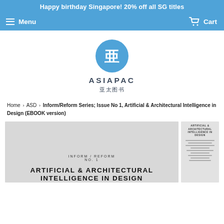Happy birthday Singapore! 20% off all SG titles
Menu   Cart
[Figure (logo): AsiaPac logo — blue circle with stylized 亚 character, text ASIAPAC and 亚太图书 below]
Home › ASD › Inform/Reform Series; Issue No 1, Artificial & Architectural Intelligence in Design (EBOOK version)
[Figure (photo): Book cover for Inform/Reform No. 1 — Artificial & Architectural Intelligence in Design, grey cover with title in bold black uppercase letters]
[Figure (photo): Thumbnail of the same book cover showing smaller text listing of contents]